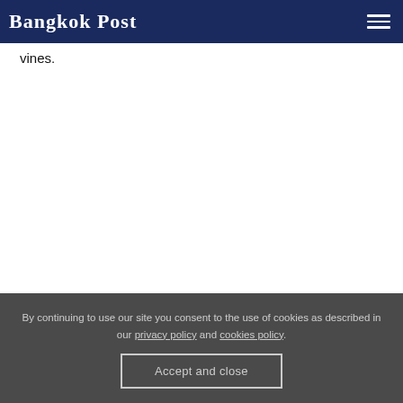Bangkok Post
vines.
By continuing to use our site you consent to the use of cookies as described in our privacy policy and cookies policy.
Accept and close